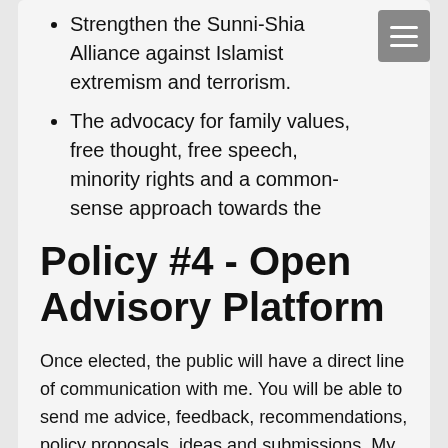Strengthen the Sunni-Shia Alliance against Islamist extremism and terrorism.
The advocacy for family values, free thought, free speech, minority rights and a common-sense approach towards the Pandemic.
Policy #4 - Open Advisory Platform
Once elected, the public will have a direct line of communication with me. You will be able to send me advice, feedback, recommendations, policy proposals, ideas and submissions. My office will strive to meet the demands of society, instead of imposing what society should accept.